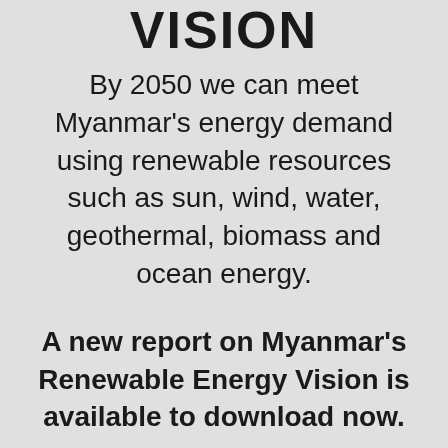VISION
By 2050 we can meet Myanmar's energy demand using renewable resources such as sun, wind, water, geothermal, biomass and ocean energy.
A new report on Myanmar's Renewable Energy Vision is available to download now.